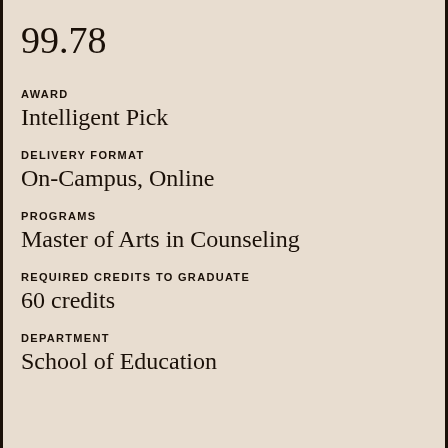99.78
AWARD
Intelligent Pick
DELIVERY FORMAT
On-Campus, Online
PROGRAMS
Master of Arts in Counseling
REQUIRED CREDITS TO GRADUATE
60 credits
DEPARTMENT
School of Education